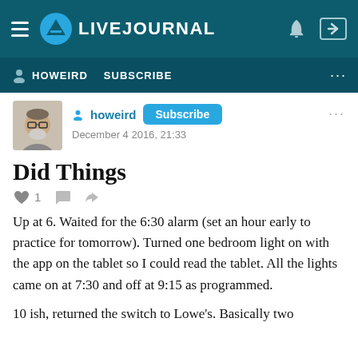LIVEJOURNAL
HOWEIRD   SUBSCRIBE
[Figure (photo): Avatar photo of a bearded man with glasses]
howeird   Subscribe
December 4 2016, 21:33
Did Things
Up at 6. Waited for the 6:30 alarm (set an hour early to practice for tomorrow). Turned one bedroom light on with the app on the tablet so I could read the tablet. All the lights came on at 7:30 and off at 9:15 as programmed.
10 ish, returned the switch to Lowe's. Basically two